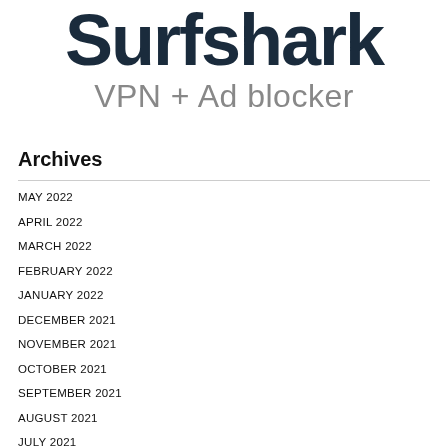Surfshark
VPN + Ad blocker
Archives
MAY 2022
APRIL 2022
MARCH 2022
FEBRUARY 2022
JANUARY 2022
DECEMBER 2021
NOVEMBER 2021
OCTOBER 2021
SEPTEMBER 2021
AUGUST 2021
JULY 2021